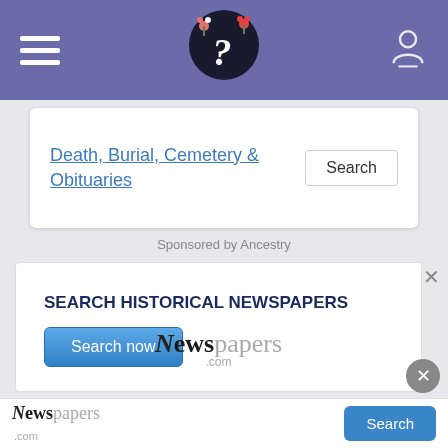Navigation header with hamburger menu, logo, and user icon
Death, Burial, Cemetery & Obituaries
Search
Sponsored by Ancestry
[Figure (screenshot): Advertisement banner for Newspapers.com with text 'SEARCH HISTORICAL NEWSPAPERS', a 'Search now' button, and the Newspapers.com logo at the bottom]
Newspapers.com  Search  ×